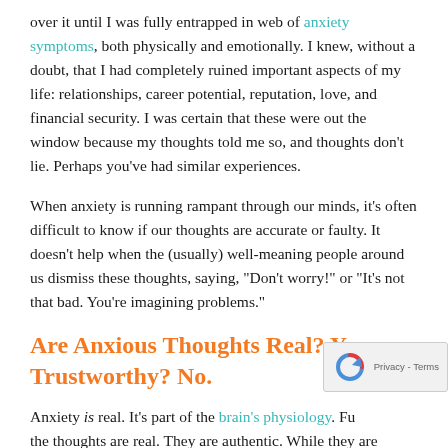over it until I was fully entrapped in web of anxiety symptoms, both physically and emotionally. I knew, without a doubt, that I had completely ruined important aspects of my life: relationships, career potential, reputation, love, and financial security. I was certain that these were out the window because my thoughts told me so, and thoughts don't lie. Perhaps you've had similar experiences.
When anxiety is running rampant through our minds, it's often difficult to know if our thoughts are accurate or faulty. It doesn't help when the (usually) well-meaning people around us dismiss these thoughts, saying, "Don't worry!" or "It's not that bad. You're imagining problems."
Are Anxious Thoughts Real? Yes. Trustworthy? No.
Anxiety is real. It's part of the brain's physiology. Fu the thoughts are real. They are authentic. While they are